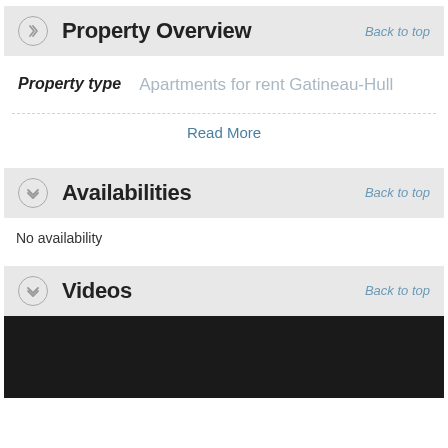Property Overview
Property type   Apartments for rent Gatineau-Hull
Read More
Availabilities
No availability
Videos
[Figure (other): Black video placeholder area]